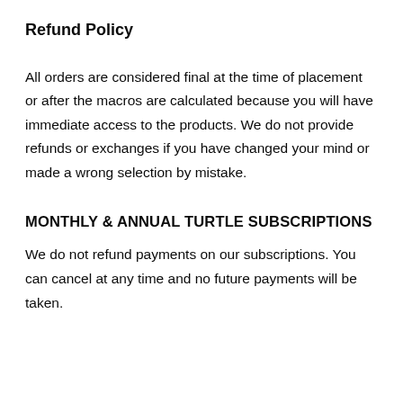Refund Policy
All orders are considered final at the time of placement or after the macros are calculated because you will have immediate access to the products. We do not provide refunds or exchanges if you have changed your mind or made a wrong selection by mistake.
MONTHLY & ANNUAL TURTLE SUBSCRIPTIONS
We do not refund payments on our subscriptions. You can cancel at any time and no future payments will be taken.